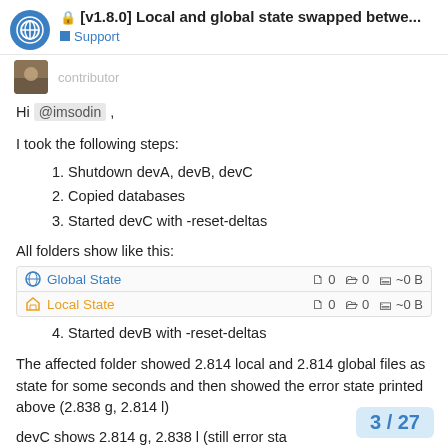[v1.8.0] Local and global state swapped betwe... — Support
Hi @imsodin ,
I took the following steps:
1. Shutdown devA, devB, devC
2. Copied databases
3. Started devC with -reset-deltas
All folders show like this:
[Figure (screenshot): Two folder state rows: Global State showing 0 files, 0 folders, ~0B; Local State showing 0 files, 0 folders, ~0B]
4. Started devB with -reset-deltas
The affected folder showed 2.814 local and 2.814 global files as state for some seconds and then showed the error state printed above (2.838 g, 2.814 l)
devC shows 2.814 g, 2.838 l (still error sta
3 / 27